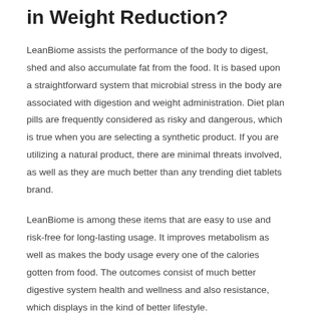in Weight Reduction?
LeanBiome assists the performance of the body to digest, shed and also accumulate fat from the food. It is based upon a straightforward system that microbial stress in the body are associated with digestion and weight administration. Diet plan pills are frequently considered as risky and dangerous, which is true when you are selecting a synthetic product. If you are utilizing a natural product, there are minimal threats involved, as well as they are much better than any trending diet tablets brand.
LeanBiome is among these items that are easy to use and risk-free for long-lasting usage. It improves metabolism as well as makes the body usage every one of the calories gotten from food. The outcomes consist of much better digestive system health and wellness and also resistance, which displays in the kind of better lifestyle.